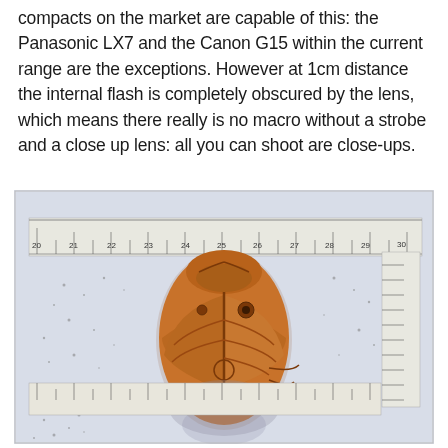compacts on the market are capable of this: the Panasonic LX7 and the Canon G15 within the current range are the exceptions. However at 1cm distance the internal flash is completely obscured by the lens, which means there really is no macro without a strobe and a close up lens: all you can shoot are close-ups.
[Figure (photo): A close-up macro photograph of a brown carved scarab beetle amulet/bead placed on a ruler. The ruler shows millimeter markings from approximately 20 to 30. The object appears to be an ancient Egyptian-style scarab with detailed engraved wing and body patterns. The photo is taken at very close distance showing the macro capability being discussed in the text.]